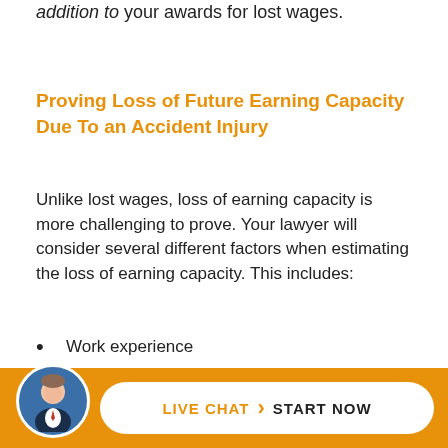addition to your awards for lost wages.
Proving Loss of Future Earning Capacity Due To an Accident Injury
Unlike lost wages, loss of earning capacity is more challenging to prove. Your lawyer will consider several different factors when estimating the loss of earning capacity. This includes:
Work experience
Skills
Abilities
Talents
[Figure (other): Live chat call-to-action footer bar with attorney avatar photo and 'LIVE CHAT > START NOW' button]